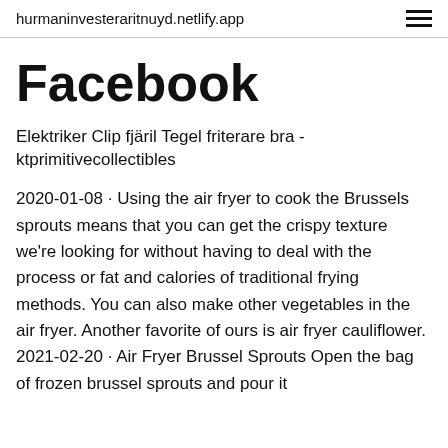hurmaninvesteraritnuyd.netlify.app
Facebook
Elektriker Clip fjäril Tegel friterare bra - ktprimitivecollectibles
2020-01-08 · Using the air fryer to cook the Brussels sprouts means that you can get the crispy texture we're looking for without having to deal with the process or fat and calories of traditional frying methods. You can also make other vegetables in the air fryer. Another favorite of ours is air fryer cauliflower. 2021-02-20 · Air Fryer Brussel Sprouts Open the bag of frozen brussel sprouts and pour it